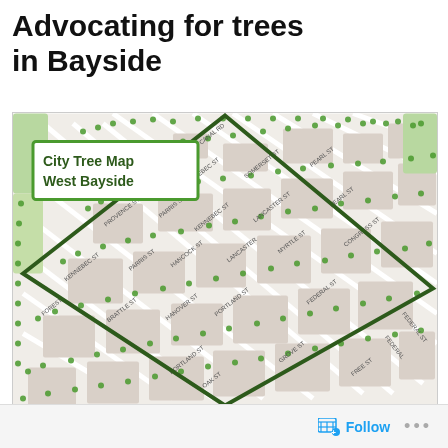Advocating for trees in Bayside
[Figure (map): City Tree Map West Bayside — street map of West Bayside neighborhood showing tree locations as green dots along streets, with a dark green rotated diamond border outlining the West Bayside district. A green-bordered label box in the upper left reads 'City Tree Map West Bayside'.]
Follow ...